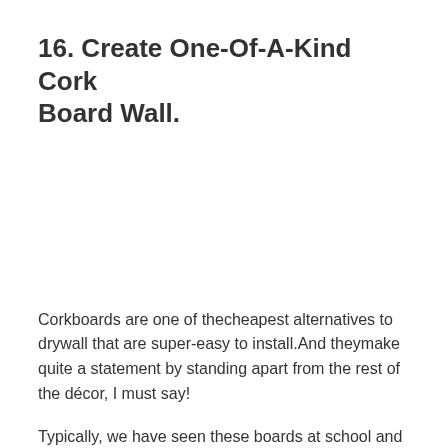16. Create One-Of-A-Kind Cork Board Wall.
Corkboards are one of thecheapest alternatives to drywall that are super-easy to install.And theymake quite a statement by standing apart from the rest of the décor, I must say!
Typically, we have seen these boards at school and office environments. However, you can find this